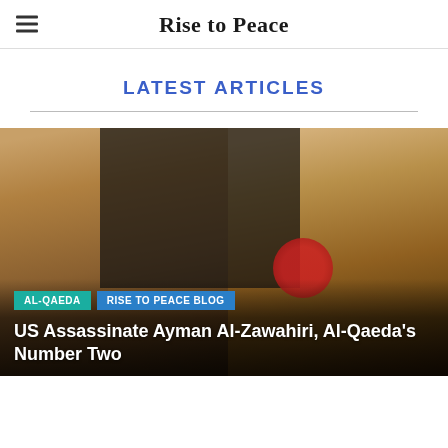Rise to Peace
LATEST ARTICLES
[Figure (photo): Two men wearing white turbans and traditional dress, photographed together indoors. Tags: AL-QAEDA and RISE TO PEACE BLOG overlaid at bottom. Article title 'US Assassinate Ayman Al-Zawahiri, Al-Qaeda's Number Two' visible at bottom.]
US Assassinate Ayman Al-Zawahiri, Al-Qaeda's Number Two